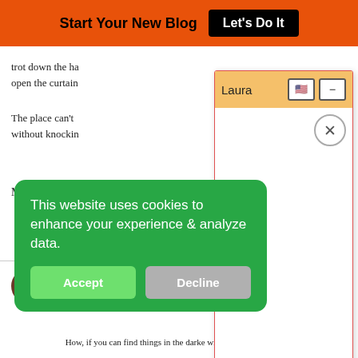Start Your New Blog  Let's Do It
trot down the ha... open the curtain...
The place can't ... without knockin...
Mary
Mary Stephens...
[Figure (screenshot): Chat popup window titled 'Laura' with orange/yellow header, US flag icon, minimize button, and close (X) button. White body area.]
[Figure (screenshot): Green cookie consent banner reading 'This website uses cookies to enhance your experience & analyze data.' with Accept (green) and Decline (gray) buttons.]
your natural light.
Powered by Steady Stream Leads
How, if you can find things in the darke without knocking things...